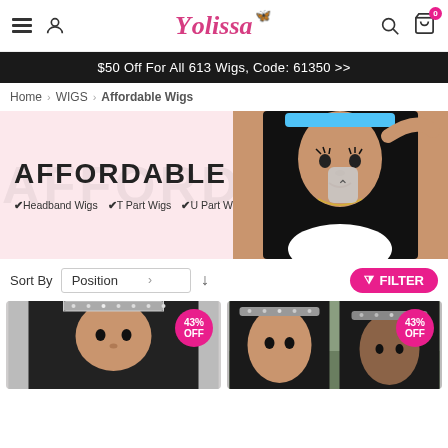Yolissa — navigation header with hamburger menu, user icon, logo, search, cart (0)
$50 Off For All 613 Wigs, Code: 61350 >>
Home > WIGS > Affordable Wigs
[Figure (photo): Affordable Wigs hero banner with pink background, large text 'AFFORDABLE WIGS', checkmarks for Headband Wigs, T Part Wigs, U Part Wigs, and a photo of a woman with long straight black hair wearing a headband wig]
Sort By  Position  |  ↓  FILTER
[Figure (photo): Product card 1: woman wearing headband wig, with 43% OFF badge]
[Figure (photo): Product card 2: woman wearing headband wig, with 43% OFF badge]